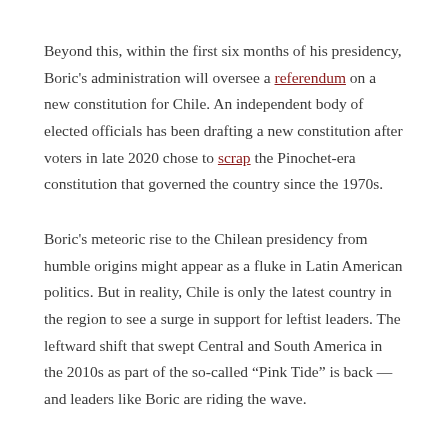Beyond this, within the first six months of his presidency, Boric's administration will oversee a referendum on a new constitution for Chile. An independent body of elected officials has been drafting a new constitution after voters in late 2020 chose to scrap the Pinochet-era constitution that governed the country since the 1970s.
Boric's meteoric rise to the Chilean presidency from humble origins might appear as a fluke in Latin American politics. But in reality, Chile is only the latest country in the region to see a surge in support for leftist leaders. The leftward shift that swept Central and South America in the 2010s as part of the so-called “Pink Tide” is back — and leaders like Boric are riding the wave.